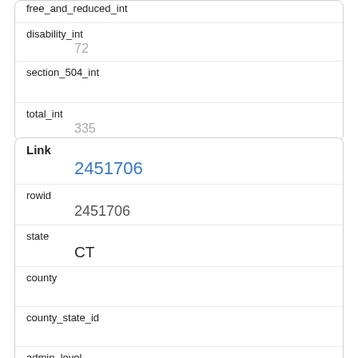| field | value |
| --- | --- |
| free_and_reduced_int |  |
| disability_int | 72 |
| section_504_int |  |
| total_int | 335 |
| field | value |
| --- | --- |
| Link | 2451706 |
| rowid | 2451706 |
| state | CT |
| county |  |
| county_state_id |  |
| admin_level | school |